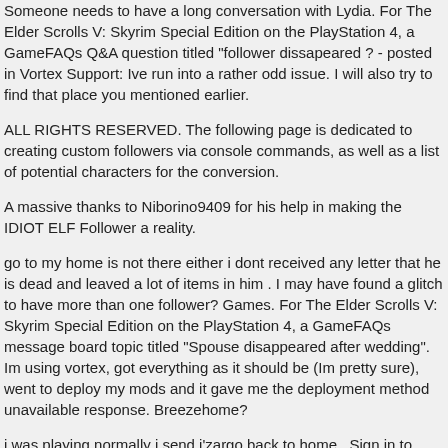Someone needs to have a long conversation with Lydia. For The Elder Scrolls V: Skyrim Special Edition on the PlayStation 4, a GameFAQs Q&A question titled "follower dissapeared ? - posted in Vortex Support: Ive run into a rather odd issue. I will also try to find that place you mentioned earlier.
ALL RIGHTS RESERVED. The following page is dedicated to creating custom followers via console commands, as well as a list of potential characters for the conversion.
A massive thanks to Niborino9409 for his help in making the IDIOT ELF Follower a reality.
go to my home is not there either i dont received any letter that he is dead and leaved a lot of items in him . I may have found a glitch to have more than one follower? Games. For The Elder Scrolls V: Skyrim Special Edition on the PlayStation 4, a GameFAQs message board topic titled "Spouse disappeared after wedding". Im using vortex, got everything as it should be (Im pretty sure), went to deploy my mods and it gave me the deployment method unavailable response. Breezehome?
i was playing normally i send j'zargo back to home . Sign in to follow this . you haven't set a signature for the message boards yet! IDIOT ELF has a been a source of constant ridicule since Skyrim first launched.